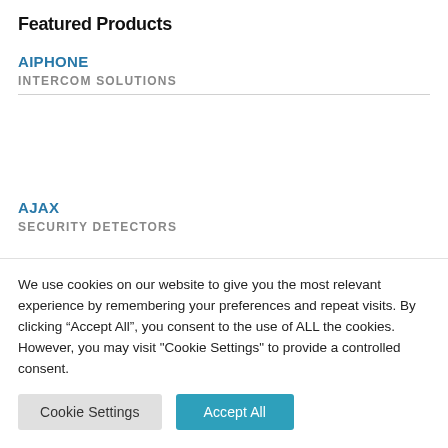Featured Products
AIPHONE
INTERCOM SOLUTIONS
AJAX
SECURITY DETECTORS
We use cookies on our website to give you the most relevant experience by remembering your preferences and repeat visits. By clicking “Accept All”, you consent to the use of ALL the cookies. However, you may visit "Cookie Settings" to provide a controlled consent.
Cookie Settings | Accept All